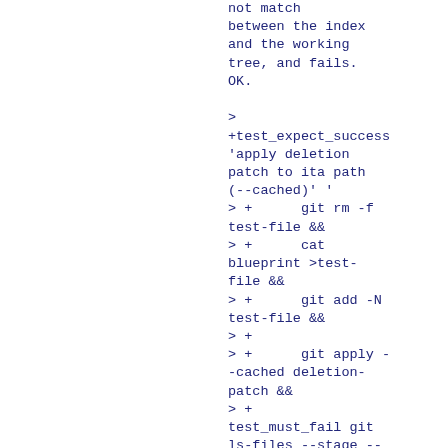not match between the index and the working tree, and fails. OK.
>
+test_expect_success 'apply deletion patch to ita path (--cached)' '
> +      git rm -f test-file &&
> +      cat blueprint >test-file &&
> +      git add -N test-file &&
> +
> +      git apply --cached deletion-patch &&
> +      test_must_fail git ls-files --stage --error-unmatch test-file
> +'
We can delete an I-